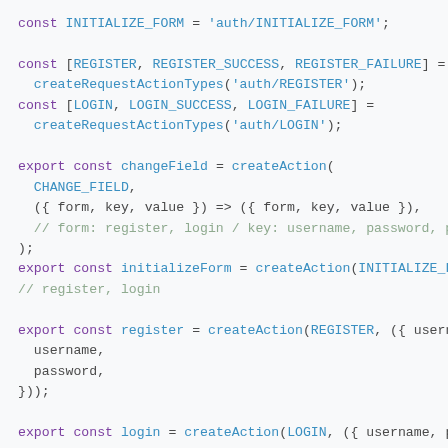[Figure (screenshot): Code snippet showing JavaScript constants and exported action creators for authentication forms (changeField, initializeForm, register, login) using createAction and createRequestActionTypes.]